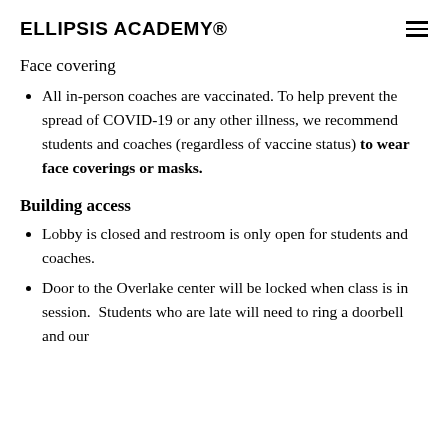ELLIPSIS ACADEMY®
Face covering
All in-person coaches are vaccinated. To help prevent the spread of COVID-19 or any other illness, we recommend students and coaches (regardless of vaccine status) to wear face coverings or masks.
Building access
Lobby is closed and restroom is only open for students and coaches.
Door to the Overlake center will be locked when class is in session. Students who are late will need to ring a doorbell and our